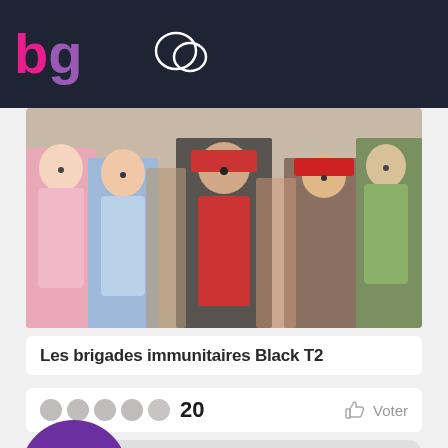bg
[Figure (illustration): Manga-style illustration showing a group of anime/manga characters including girls and boys with various colored outfits and hats]
Les brigades immunitaires Black T2
20  Voter
[Figure (other): Gray card with purple circular badge showing number 79]